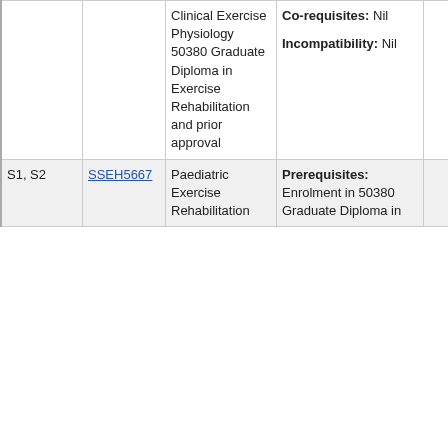| Semester | Code | Unit Name | Prerequisites/Co-requisites/Incompatibility | ... |
| --- | --- | --- | --- | --- |
|  |  | Clinical Exercise Physiology 50380 Graduate Diploma in Exercise Rehabilitation and prior approval | Co-requisites: Nil
Incompatibility: Nil | ... |
| S1, S2 | SSEH5667 | Paediatric Exercise Rehabilitation | Prerequisites: Enrolment in 50380 Graduate Diploma in | ... |